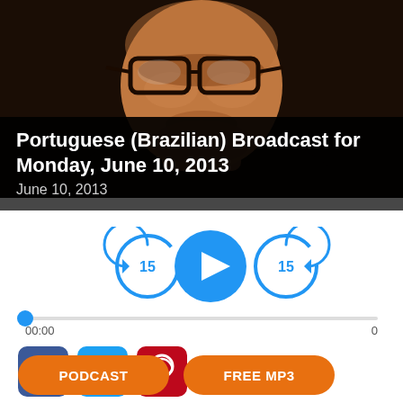[Figure (photo): Close-up photo of an older man with glasses, dark background]
Portuguese (Brazilian) Broadcast for Monday, June 10, 2013
June 10, 2013
[Figure (other): Audio player controls: skip back 15, play button, skip forward 15, progress bar showing 00:00 and 0]
[Figure (other): Social share icons: Facebook, Twitter, Pinterest]
PODCAST
FREE MP3